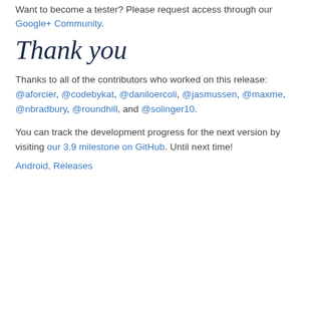Want to become a tester? Please request access through our Google+ Community.
Thank you
Thanks to all of the contributors who worked on this release: @aforcier, @codebykat, @daniloercoli, @jasmussen, @maxme, @nbradbury, @roundhill, and @solinger10.
You can track the development progress for the next version by visiting our 3.9 milestone on GitHub. Until next time!
Android, Releases